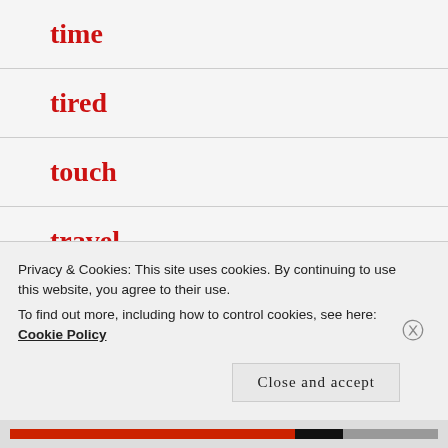time
tired
touch
travel
treasure
trials
Privacy & Cookies: This site uses cookies. By continuing to use this website, you agree to their use.
To find out more, including how to control cookies, see here: Cookie Policy
Close and accept